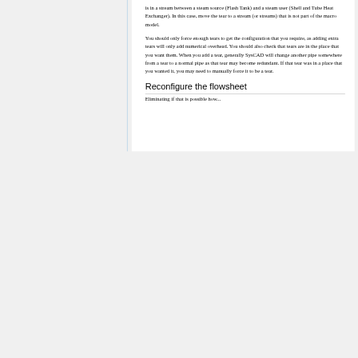is in a stream between a steam source (Flash Tank) and a steam user (Shell and Tube Heat Exchanger). In this case, move the tear to a stream (or streams) that is not part of the macro model.
You should only force enough tears to get the configuration that you require, as adding extra tears will only add numerical overhead. You should also check that tears are in the place that you want them. When you add a tear, generally SysCAD will change another pipe somewhere from a tear to a normal pipe as that tear may become redundant. If that tear was in a place that you wanted it, you may need to manually force it to be a tear.
Reconfigure the flowsheet
Eliminating if that is possible how...